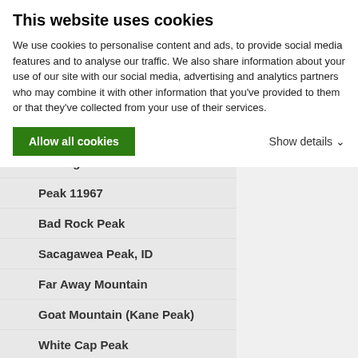This website uses cookies
We use cookies to personalise content and ads, to provide social media features and to analyse our traffic. We also share information about your use of our site with our social media, advertising and analytics partners who may combine it with other information that you've provided to them or that they've collected from your use of their services.
Allow all cookies
Show details
No Regret
Peak 11967
Bad Rock Peak
Sacagawea Peak, ID
Far Away Mountain
Goat Mountain (Kane Peak)
White Cap Peak
Peak 11887 (The Fin)
Standhope Peak